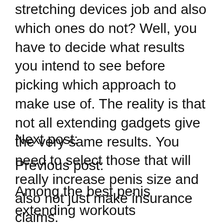stretching devices job and also which ones do not? Well, you have to decide what results you intend to see before picking which approach to make use of. The reality is that not all extending gadgets give the very same results. You need to select those that will really increase penis size and also not just make insurance claims.
Next post:
Previous post:
Among the best penis extending workouts understood is the Jelqing exercise. This is done in a tub. You require to immerse on your own in a warm bath so that you can unwind your body. Hereafter, you require to